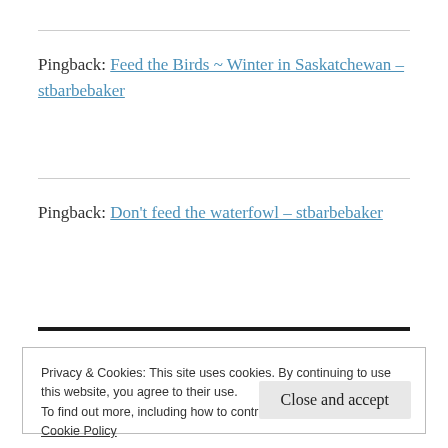Pingback: Feed the Birds ~ Winter in Saskatchewan – stbarbebaker
Pingback: Don't feed the waterfowl – stbarbebaker
Privacy & Cookies: This site uses cookies. By continuing to use this website, you agree to their use.
To find out more, including how to control cookies, see here:
Cookie Policy
Close and accept